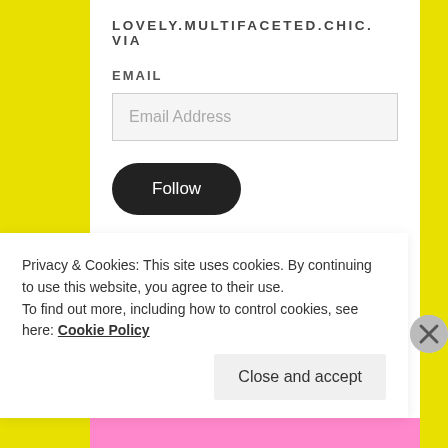LOVELY.MULTIFACETED.CHIC. VIA
EMAIL
Email Address
Follow
LMC COMMUNITY
[Figure (photo): Six community member avatar thumbnails in a row]
Privacy & Cookies: This site uses cookies. By continuing to use this website, you agree to their use.
To find out more, including how to control cookies, see here: Cookie Policy
Close and accept